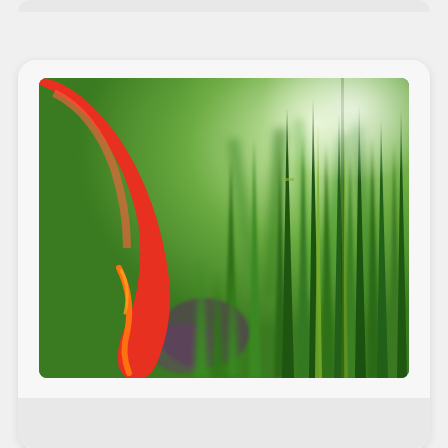[Figure (photo): Close-up photo of green grass blades with a red arc-shaped plastic object (possibly a trimmer guard or toy) in the foreground, with blurred green background.]
C Blade-92